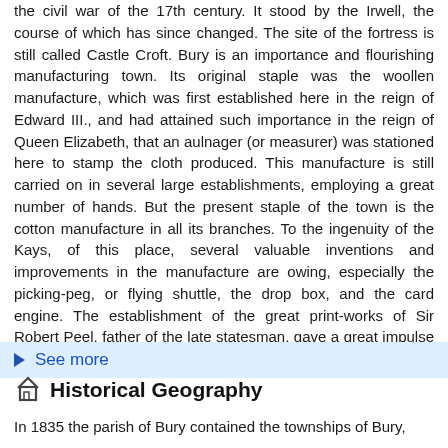the civil war of the 17th century. It stood by the Irwell, the course of which has since changed. The site of the fortress is still called Castle Croft. Bury is an importance and flourishing manufacturing town. Its original staple was the woollen manufacture, which was first established here in the reign of Edward III., and had attained such importance in the reign of Queen Elizabeth, that an aulnager (or measurer) was stationed here to stamp the cloth produced. This manufacture is still carried on in several large establishments, employing a great number of hands. But the present staple of the town is the cotton manufacture in all its branches. To the ingenuity of the Kays, of this place, several valuable inventions and improvements in the manufacture are owing, especially the picking-peg, or flying shuttle, the drop box, and the card engine. The establishment of the great print-works of Sir Robert Peel, father of the late statesman, gave a great impulse to the trade of the town and neighbourhood.
See more
Historical Geography
In 1835 the parish of Bury contained the townships of Bury,